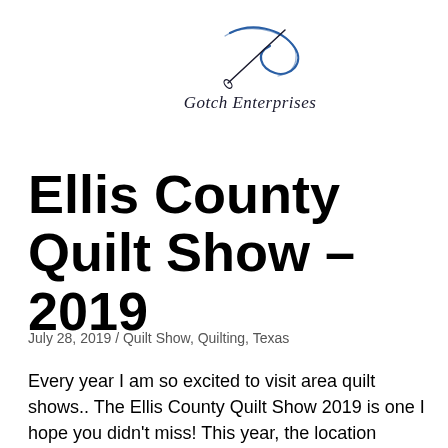[Figure (logo): Gotch Enterprises logo with a stylized needle/thread design and cursive text reading 'Gotch Enterprises']
Ellis County Quilt Show – 2019
July 28, 2019 / Quilt Show, Quilting, Texas
Every year I am so excited to visit area quilt shows.. The Ellis County Quilt Show 2019 is one I hope you didn't miss! This year, the location changed, but the same great vendors and beautiful quilts were all there like always.